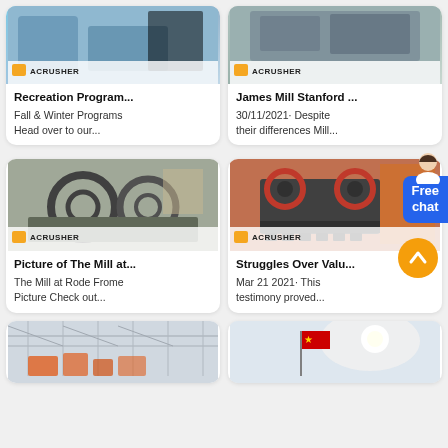[Figure (screenshot): Grid of product/article cards from Acrusher website showing industrial mill and crusher machinery with titles and descriptions]
Recreation Program...
Fall & Winter Programs Head over to our...
James Mill Stanford ...
30/11/2021· Despite their differences Mill...
[Figure (photo): Large industrial wheel/sand washing machine equipment]
[Figure (photo): Industrial jaw crusher machine with red and black components]
Picture of The Mill at...
The Mill at Rode Frome Picture Check out...
Struggles Over Valu...
Mar 21 2021· This testimony proved...
[Figure (photo): Industrial factory interior with machinery]
[Figure (photo): Outdoor scene with flag]